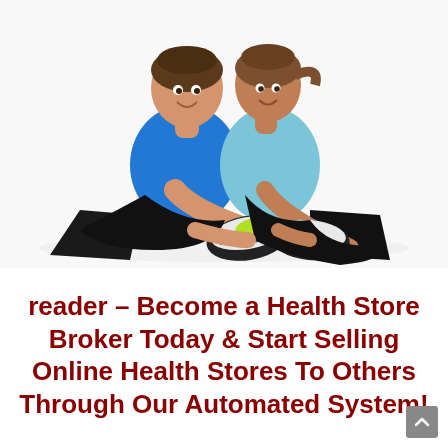[Figure (photo): Two fit people in athletic wear (man in blue t-shirt, woman in light blue tank top) sitting on the floor doing a seated forward stretch together, touching their shoes toward the camera, on a white background.]
reader – Become a Health Store Broker Today & Start Selling Online Health Stores To Others Through Our Automated System!